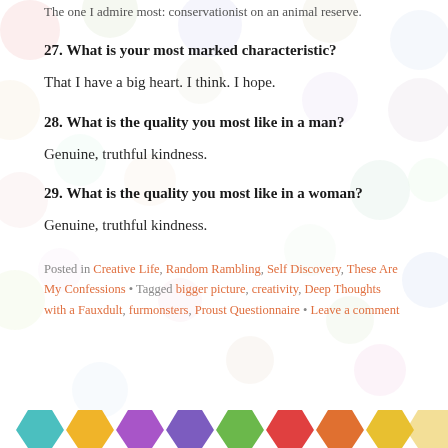The one I admire most: conservationist on an animal reserve.
27. What is your most marked characteristic?
That I have a big heart. I think. I hope.
28. What is the quality you most like in a man?
Genuine, truthful kindness.
29. What is the quality you most like in a woman?
Genuine, truthful kindness.
Posted in Creative Life, Random Rambling, Self Discovery, These Are My Confessions • Tagged bigger picture, creativity, Deep Thoughts with a Fauxdult, furmonsters, Proust Questionnaire • Leave a comment